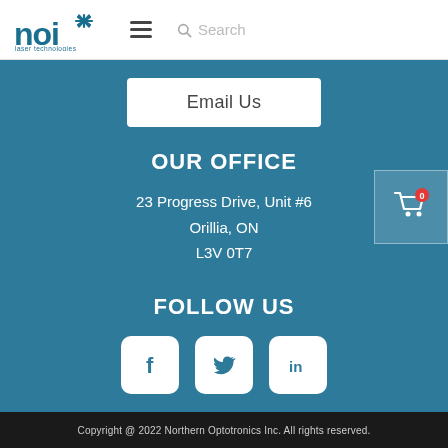noi laser technologies — Search
Email Us
OUR OFFICE
23 Progress Drive, Unit #6
Orillia, ON
L3V 0T7
FOLLOW US
[Figure (infographic): Shopping cart icon with badge showing 0]
[Figure (infographic): Social media icons: Facebook, Twitter, LinkedIn]
Copyright @ 2022 Northern Optotronics Inc. All rights reserved.